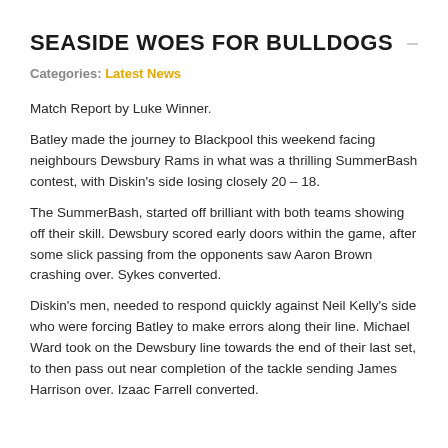SEASIDE WOES FOR BULLDOGS
Categories: Latest News
Match Report by Luke Winner.
Batley made the journey to Blackpool this weekend facing neighbours Dewsbury Rams in what was a thrilling SummerBash contest, with Diskin's side losing closely 20 – 18.
The SummerBash, started off brilliant with both teams showing off their skill. Dewsbury scored early doors within the game, after some slick passing from the opponents saw Aaron Brown crashing over. Sykes converted.
Diskin's men, needed to respond quickly against Neil Kelly's side who were forcing Batley to make errors along their line. Michael Ward took on the Dewsbury line towards the end of their last set, to then pass out near completion of the tackle sending James Harrison over. Izaac Farrell converted.